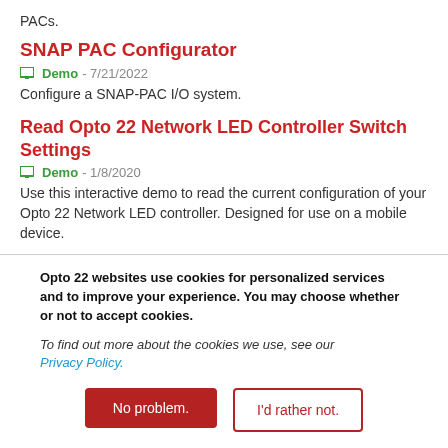PACs.
SNAP PAC Configurator
Demo - 7/21/2022
Configure a SNAP-PAC I/O system.
Read Opto 22 Network LED Controller Switch Settings
Demo - 1/8/2020
Use this interactive demo to read the current configuration of your Opto 22 Network LED controller. Designed for use on a mobile device.
Opto 22 websites use cookies for personalized services and to improve your experience. You may choose whether or not to accept cookies.
To find out more about the cookies we use, see our Privacy Policy.
No problem.
I'd rather not.